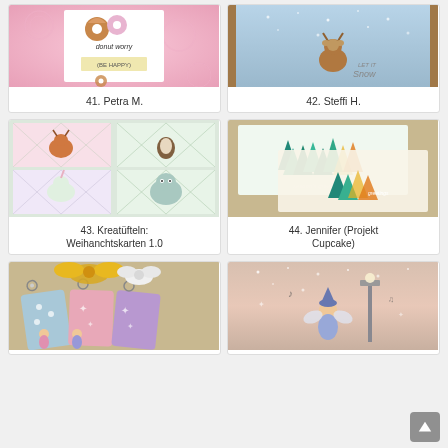[Figure (photo): Handmade card with donut illustrations on pink swirly background, text 'donut worry (BE HAPPY)']
41. Petra M.
[Figure (photo): Handmade card with deer on blue snowy background, text 'LET IT Snow']
42. Steffi H.
[Figure (photo): Four-panel card with cute animals (reindeer, penguin, unicorn, yeti) on argyle pattern]
43. Kreatüfteln: Weihanchtskarten 1.0
[Figure (photo): Multiple cards with pine tree silhouettes and 'season's greetings' text in teal and warm colors]
44. Jennifer (Projekt Cupcake)
[Figure (photo): Gift tags with ribbon bows in gold and white, decorated with fairy/angel characters]
[Figure (photo): Card with winter scene, fairy character near lamp post on pink/peach snowy background]